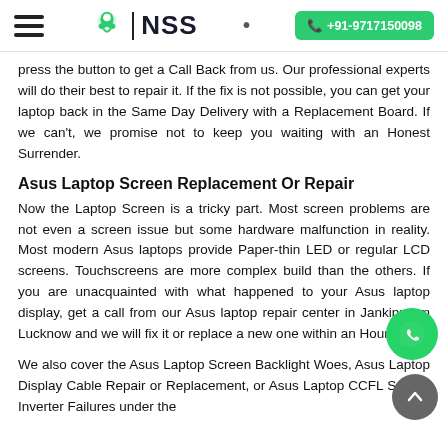NSS | +91-9717150098
press the button to get a Call Back from us. Our professional experts will do their best to repair it. If the fix is not possible, you can get your laptop back in the Same Day Delivery with a Replacement Board. If we can't, we promise not to keep you waiting with an Honest Surrender.
Asus Laptop Screen Replacement Or Repair
Now the Laptop Screen is a tricky part. Most screen problems are not even a screen issue but some hardware malfunction in reality. Most modern Asus laptops provide Paper-thin LED or regular LCD screens. Touchscreens are more complex build than the others. If you are unacquainted with what happened to your Asus laptop display, get a call from our Asus laptop repair center in Jankipuram Lucknow and we will fix it or replace a new one within an Hour.
We also cover the Asus Laptop Screen Backlight Woes, Asus Laptop Display Cable Repair or Replacement, or Asus Laptop CCFL Screen Inverter Failures under the